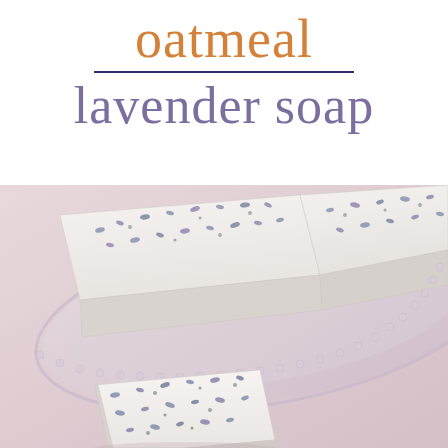oatmeal lavender soap
[Figure (photo): White rectangular bars of oatmeal lavender soap with visible lavender buds and oat flecks on top, displayed on a decorative glass soap dish with beaded edges, on a light pink surface. Two bars are on the dish and one square bar is in the foreground.]